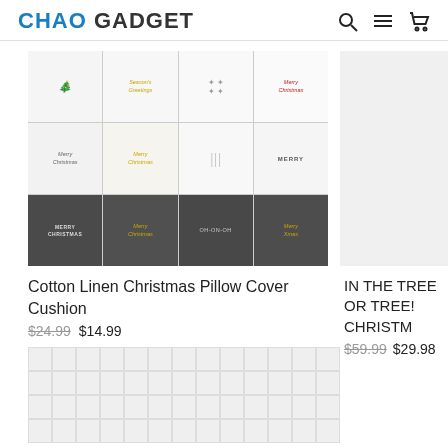[Figure (logo): CHAO GADGET logo with CHAO in blue and GADGET in black, bold sans-serif]
[Figure (other): Header navigation icons: search, hamburger menu, shopping cart]
[Figure (photo): Grid of 12 Christmas pillow covers in 3 rows of 4. Top row: white pillows with holiday designs (stocking, season's greetings birds, dots, Merry Christmas). Middle row: white/cream pillows with Christmas text and stripe patterns. Bottom row: dark gray pillows with antler/gold foil Christmas designs.]
Cotton Linen Christmas Pillow Cover Cushion
$24.99  $14.99
[Figure (other): Color swatch selector grid with approximately 52 small square color options]
IN THE TREE OR TREE! CHRISTM
$59.99  $29.98